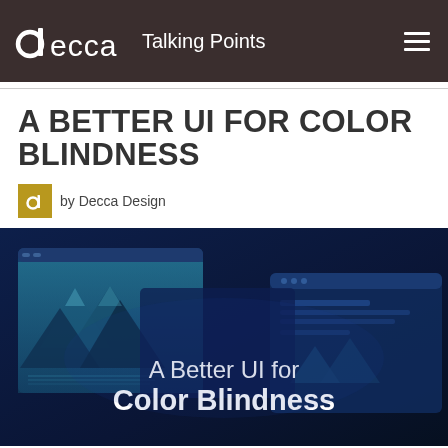decca  Talking Points
A BETTER UI FOR COLOR BLINDNESS
by Decca Design
[Figure (illustration): Decorative hero image showing abstract UI/browser windows with mountain landscape illustration in blue tones, with text overlay 'A Better UI for Color Blindness']